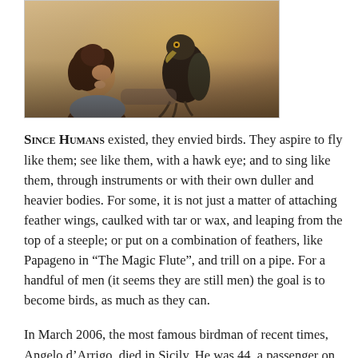[Figure (photo): A man with long curly hair facing upward toward a large dark bird (likely an eagle or hawk) perched nearby, photographed outdoors with warm golden-hour lighting.]
SINCE HUMANS existed, they envied birds. They aspire to fly like them; see like them, with a hawk eye; and to sing like them, through instruments or with their own duller and heavier bodies. For some, it is not just a matter of attaching feather wings, caulked with tar or wax, and leaping from the top of a steeple; or put on a combination of feathers, like Papageno in “The Magic Flute”, and trill on a pipe. For a handful of men (it seems they are still men) the goal is to become birds, as much as they can.
In March 2006, the most famous birdman of recent times, Angelo d’Arrigo, died in Sicily. He was 44, a passenger on a small plane who suddenly took a nose dive during an air show. For him, it was a big and heavy machine. Normally a hang-glider would carry it, floating in the air currents. He had thus drifted on